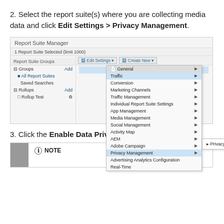2. Select the report suite(s) where you are collecting media data and click Edit Settings > Privacy Management.
[Figure (screenshot): Report Suite Manager UI showing Edit Settings dropdown menu expanded with Privacy Management highlighted and submenu showing Privacy Reporting option]
3. Click the Enable Data Privacy Reports button.
[Figure (screenshot): NOTE callout box with grey sidebar and NOTE heading]